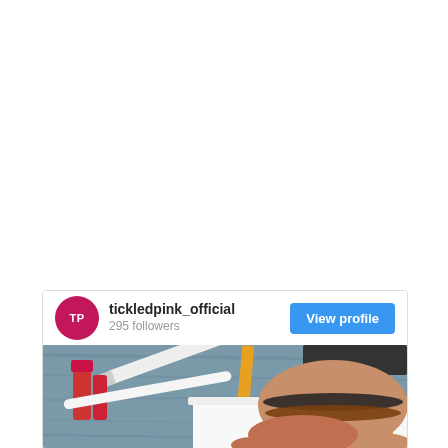[Figure (screenshot): Instagram profile card for tickledpink_official showing a profile avatar (pink circle with 'TP' initials), username 'tickledpink_official', '295 followers', a blue 'View profile' button, and a photo of a hand writing with a pencil on paper surrounded by makeup items on a blue wooden surface.]